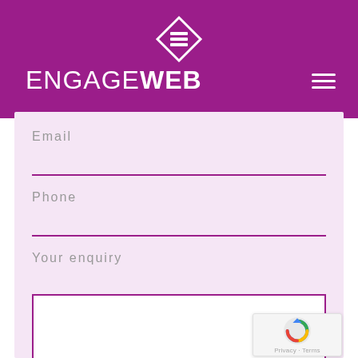[Figure (logo): EngageWeb logo with diamond-shaped icon and brand name ENGAGEWEB in white on purple background, with hamburger menu icon]
Email
Phone
Your enquiry